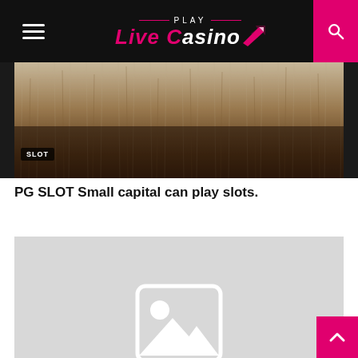Play Live CasinoZ
[Figure (photo): Partial view of a slot machine or casino-related imagery with a 'SLOT' badge overlay, brown/tan textured background]
PG SLOT Small capital can play slots.
[Figure (photo): Placeholder image with broken image icon (mountain and sun silhouette in white on light gray background)]